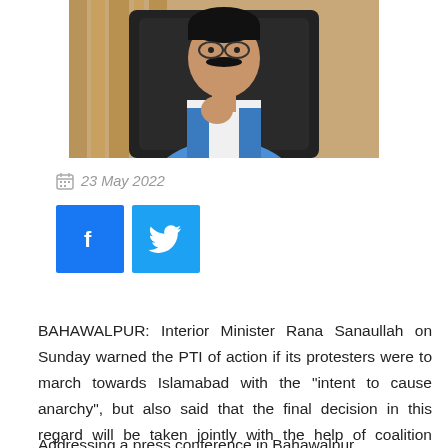[Figure (photo): A man in a blue vest sitting in a chair, gesturing with his hand, speaking at what appears to be a press conference]
23 May 2022
[Figure (infographic): Facebook and Twitter share buttons]
BAHAWALPUR: Interior Minister Rana Sanaullah on Sunday warned the PTI of action if its protesters were to march towards Islamabad with the "intent to cause anarchy", but also said that the final decision in this regard will be taken jointly with the help of coalition partners.
Addressing a press conference in Bahawalpur